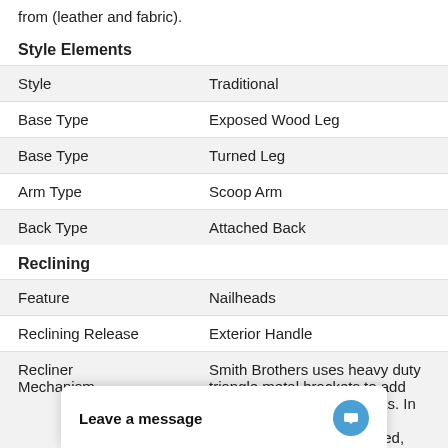from (leather and fabric).
Style Elements
|  |  |
| --- | --- |
| Style | Traditional |
| Base Type | Exposed Wood Leg |
| Base Type | Turned Leg |
| Arm Type | Scoop Arm |
| Back Type | Attached Back |
Reclining
|  |  |
| --- | --- |
| Feature | Nailheads |
| Reclining Release | Exterior Handle |
| Recliner Mechanism | Smith Brothers uses heavy duty triangle metal brackets to add support to high-stress areas. In addition, all stress joints in recliners are dowelled, glued, and reinforced with sc… |
| Recliner Features | Hi… |
Leave a message